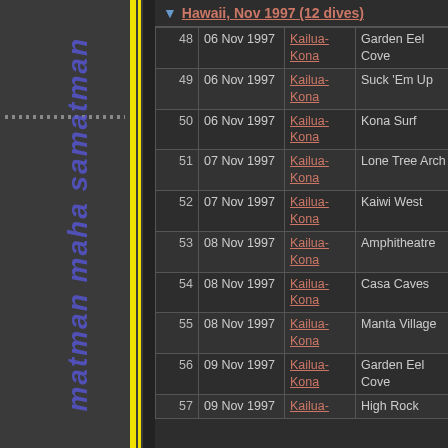Hawaii, Nov 1997 (12 dives)
| # | Date | Location | Site |  |
| --- | --- | --- | --- | --- |
| 48 | 06 Nov 1997 | Kailua-Kona | Garden Eel Cove | 8 |
| 49 | 06 Nov 1997 | Kailua-Kona | Suck 'Em Up | 5 |
| 50 | 06 Nov 1997 | Kailua-Kona | Kona Surf | 3 |
| 51 | 07 Nov 1997 | Kailua-Kona | Lone Tree Arch | 8 |
| 52 | 07 Nov 1997 | Kailua-Kona | Kaiwi West | 6 |
| 53 | 08 Nov 1997 | Kailua-Kona | Amphitheatre | 4 |
| 54 | 08 Nov 1997 | Kailua-Kona | Casa Caves | 5 |
| 55 | 08 Nov 1997 | Kailua-Kona | Manta Village | 2 |
| 56 | 09 Nov 1997 | Kailua-Kona | Garden Eel Cove | 8 |
| 57 | 09 Nov 1997 | Kailua- | High Rock |  |